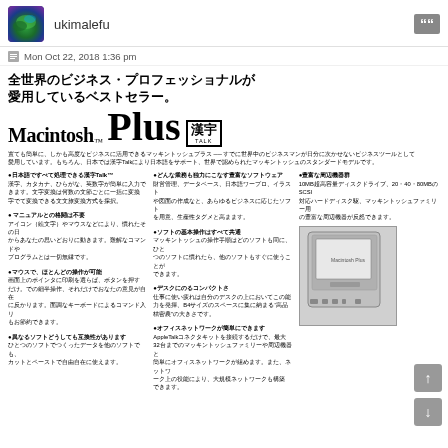ukimalefu
Mon Oct 22, 2018 1:36 pm
[Figure (photo): Macintosh Plus 漢字Talk Japanese advertisement showing the computer product with Japanese text features]
[Figure (photo): Photo of a Macintosh Plus computer unit, rear/side view, gray color]